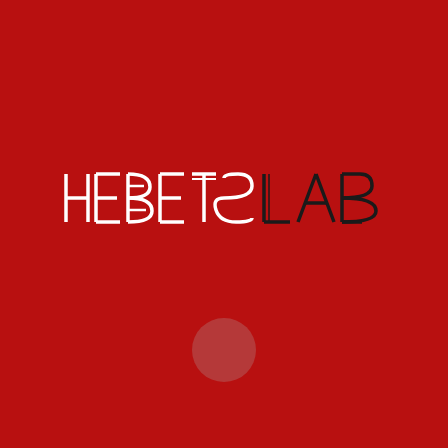[Figure (logo): Hebets Lab logo: the text 'HEBETS' in white geometric/custom letterforms followed by 'LAB' in black thin geometric letterforms, on a deep red background, with a muted pinkish-red circle below]
HEBETS LAB